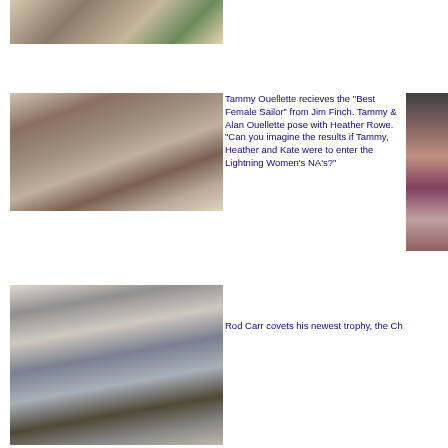[Figure (photo): Photo of table setting with glasses, flowers]
[Figure (photo): Photo of two people at fireplace, man presenting award to woman]
Tammy Ouellette recieves the "Best Female Sailor" from Jim Finch. Tammy & Alan Ouellette pose with Heather Rowe. "Can you imagine the results if Tammy, Heather and Kate were to enter the Lightning Women's NA's?"
[Figure (photo): Partial photo of person, partially cropped]
[Figure (photo): Photo of Rod Carr holding a trophy]
Rod Carr covets his newest trophy, the Ch